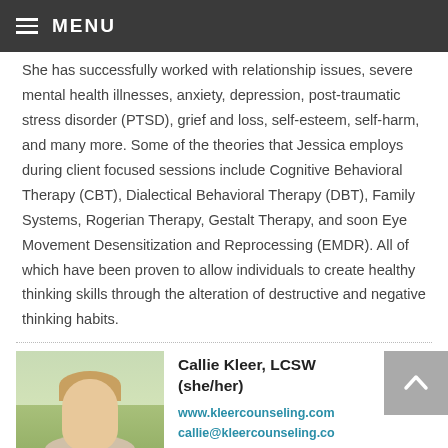MENU
She has successfully worked with relationship issues, severe mental health illnesses, anxiety, depression, post-traumatic stress disorder (PTSD), grief and loss, self-esteem, self-harm, and many more. Some of the theories that Jessica employs during client focused sessions include Cognitive Behavioral Therapy (CBT), Dialectical Behavioral Therapy (DBT), Family Systems, Rogerian Therapy, Gestalt Therapy, and soon Eye Movement Desensitization and Reprocessing (EMDR). All of which have been proven to allow individuals to create healthy thinking skills through the alteration of destructive and negative thinking habits.
[Figure (photo): Photo of Callie Kleer, a woman with blonde hair, outdoors with greenery in the background.]
Callie Kleer, LCSW (she/her)
www.kleercounseling.com
callie@kleercounseling.co